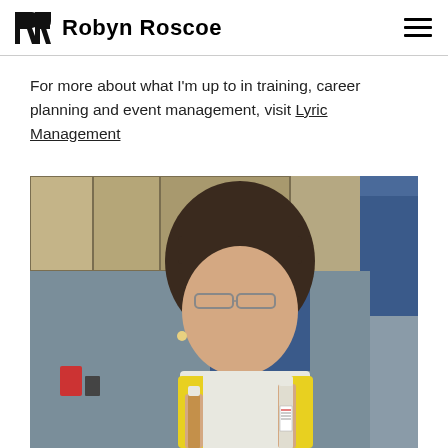Robyn Roscoe
For more about what I'm up to in training, career planning and event management, visit Lyric Management
[Figure (photo): Woman in yellow lab vest holding two test tubes in a laboratory setting with equipment and cabinets in the background]